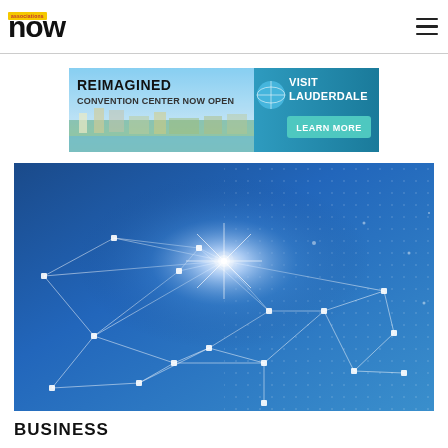associations now
[Figure (other): Advertisement banner: REIMAGINED CONVENTION CENTER NOW OPEN — VISIT LAUDERDALE LEARN MORE, with aerial photo of Fort Lauderdale coastline]
[Figure (illustration): Blue background network/technology graphic with glowing nodes connected by lines forming geometric triangular patterns and a bright star-burst light source in the upper-center area]
BUSINESS